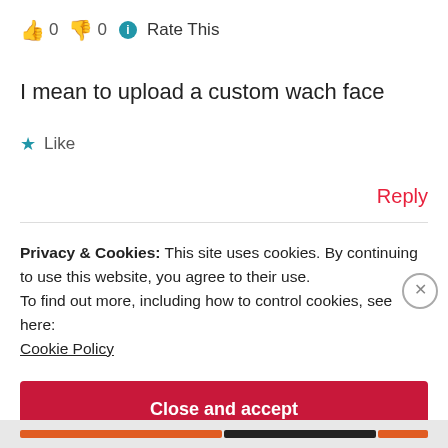👍 0 👎 0 ℹ Rate This
I mean to upload a custom wach face
★ Like
Reply
Privacy & Cookies: This site uses cookies. By continuing to use this website, you agree to their use.
To find out more, including how to control cookies, see here:
Cookie Policy
Close and accept